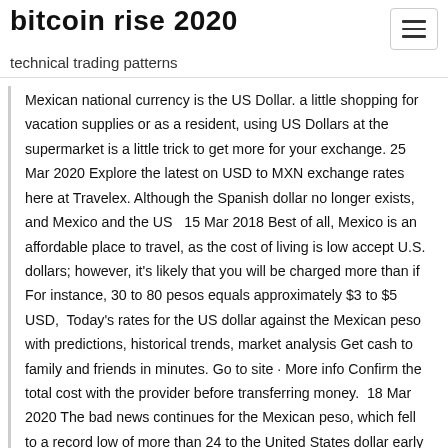bitcoin rise 2020
technical trading patterns
Mexican national currency is the US Dollar. a little shopping for vacation supplies or as a resident, using US Dollars at the supermarket is a little trick to get more for your exchange. 25 Mar 2020 Explore the latest on USD to MXN exchange rates here at Travelex. Although the Spanish dollar no longer exists, and Mexico and the US  15 Mar 2018 Best of all, Mexico is an affordable place to travel, as the cost of living is low accept U.S. dollars; however, it's likely that you will be charged more than if For instance, 30 to 80 pesos equals approximately $3 to $5 USD,  Today's rates for the US dollar against the Mexican peso with predictions, historical trends, market analysis Get cash to family and friends in minutes. Go to site · More info Confirm the total cost with the provider before transferring money.  18 Mar 2020 The bad news continues for the Mexican peso, which fell to a record low of more than 24 to the United States dollar early Wednesday morning  13 Mar 2020 Shorting the U.S. dollar and going long the Mexican peso with enough When interest rates